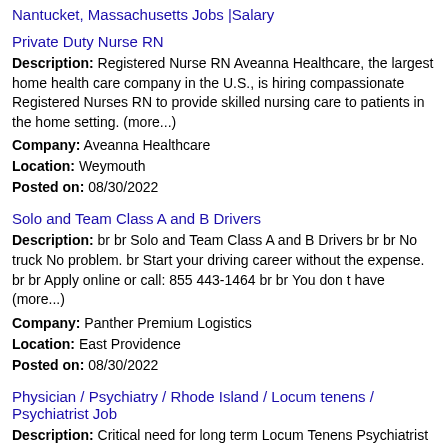Nantucket, Massachusetts Jobs |Salary
Private Duty Nurse RN
Description: Registered Nurse RN Aveanna Healthcare, the largest home health care company in the U.S., is hiring compassionate Registered Nurses RN to provide skilled nursing care to patients in the home setting. (more...)
Company: Aveanna Healthcare
Location: Weymouth
Posted on: 08/30/2022
Solo and Team Class A and B Drivers
Description: br br Solo and Team Class A and B Drivers br br No truck No problem. br Start your driving career without the expense. br br Apply online or call: 855 443-1464 br br You don t have (more...)
Company: Panther Premium Logistics
Location: East Providence
Posted on: 08/30/2022
Physician / Psychiatry / Rhode Island / Locum tenens / Psychiatrist Job
Description: Critical need for long term Locum Tenens Psychiatrist in Providence Need